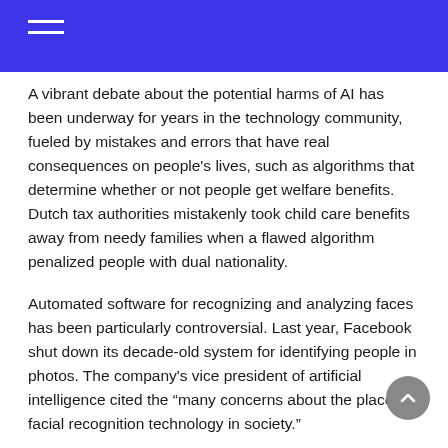A vibrant debate about the potential harms of AI has been underway for years in the technology community, fueled by mistakes and errors that have real consequences on people's lives, such as algorithms that determine whether or not people get welfare benefits. Dutch tax authorities mistakenly took child care benefits away from needy families when a flawed algorithm penalized people with dual nationality.
Automated software for recognizing and analyzing faces has been particularly controversial. Last year, Facebook shut down its decade-old system for identifying people in photos. The company's vice president of artificial intelligence cited the “many concerns about the place of facial recognition technology in society.”
Several Black men have been wrongfully arrested after flawed facial recognition matches. And in 2020, at the same time as the Black Lives Matter protests after the police killing of George Floyd in Minneapolis, Amazon and Microsoft issued moratoriums on the use of their facial recognition products by the police in the United